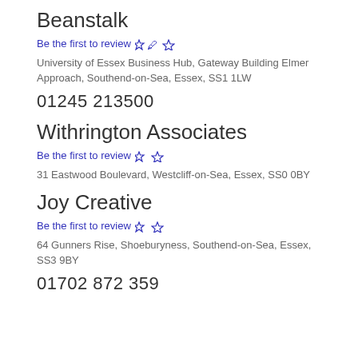Beanstalk
Be the first to review ✏️☆
University of Essex Business Hub, Gateway Building Elmer Approach, Southend-on-Sea, Essex, SS1 1LW
01245 213500
Withrington Associates
Be the first to review ✏️☆
31 Eastwood Boulevard, Westcliff-on-Sea, Essex, SS0 0BY
Joy Creative
Be the first to review ✏️☆
64 Gunners Rise, Shoeburyness, Southend-on-Sea, Essex, SS3 9BY
01702 872 359